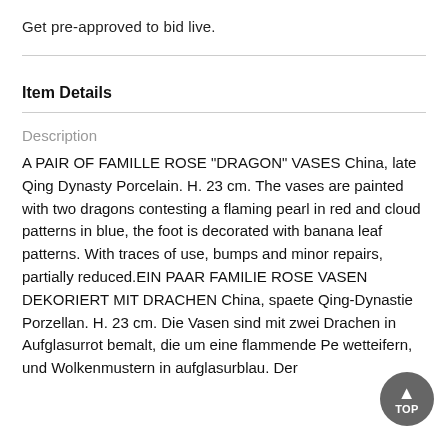Get pre-approved to bid live.
Item Details
Description
A PAIR OF FAMILLE ROSE "DRAGON" VASES China, late Qing Dynasty Porcelain. H. 23 cm. The vases are painted with two dragons contesting a flaming pearl in red and cloud patterns in blue, the foot is decorated with banana leaf patterns. With traces of use, bumps and minor repairs, partially reduced.EIN PAAR FAMILIE ROSE VASEN DEKORIERT MIT DRACHEN China, spaete Qing-Dynastie Porzellan. H. 23 cm. Die Vasen sind mit zwei Drachen in Aufglasurrot bemalt, die um eine flammende Pe wetteifern, und Wolkenmustern in aufglasurblau. Der